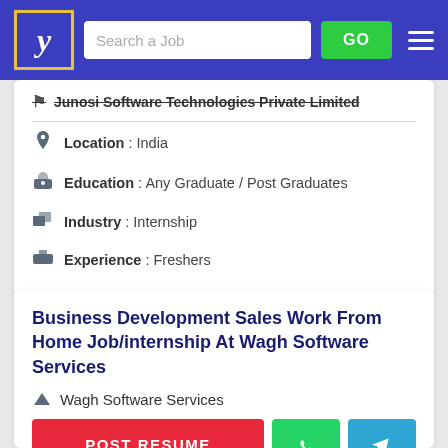[Figure (screenshot): Navigation bar with logo (stylized Y), search bar labeled 'Search a Job', green GO button, and hamburger menu on blue/indigo background]
Junosi Software Technologies Private Limited
Location : India
Education : Any Graduate / Post Graduates
Industry : Internship
Experience : Freshers
Business Development Sales Work From Home Job/internship At Wagh Software Services
Wagh Software Services
POST RESUME
Education : Any Graduate / Post Graduates